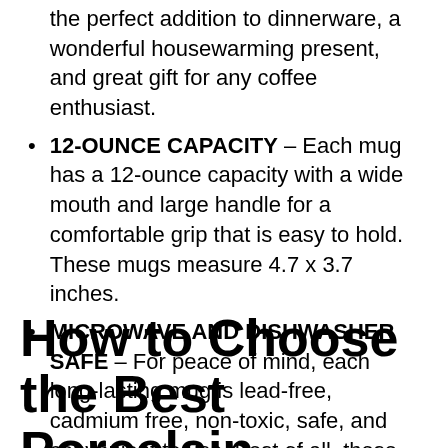the perfect addition to dinnerware, a wonderful housewarming present, and great gift for any coffee enthusiast.
12-OUNCE CAPACITY – Each mug has a 12-ounce capacity with a wide mouth and large handle for a comfortable grip that is easy to hold. These mugs measure 4.7 x 3.7 inches.
MICROWAVE AND DISHWASHER SAFE – For peace of mind, each long-lasting mug is lead-free, cadmium free, non-toxic, safe, and convenient to use. Best of all, these are microwavable, dishwasher safe, and easy to clean!
How to Choose the Best Porcelain Coffee